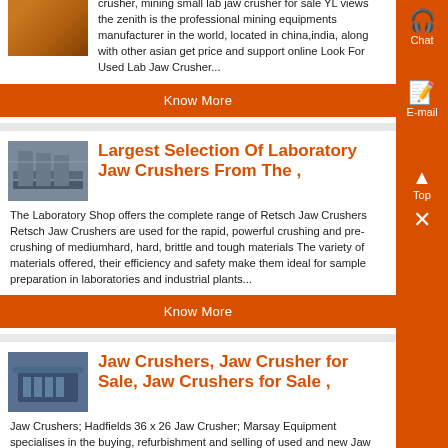[Figure (photo): Industrial orange machinery/structure image (cropped at top)]
crusher, mining small lab jaw crusher for sale YL views the zenith is the professional mining equipments manufacturer in the world, located in china,india, along with other asian get price and support online Look For Used Lab Jaw Crusher...
Know More
[Figure (photo): Industrial conveyor/processing equipment in a facility]
Largest Selection Of Laboratory Jaw Crushers From The ,
The Laboratory Shop offers the complete range of Retsch Jaw Crushers Retsch Jaw Crushers are used for the rapid, powerful crushing and pre-crushing of mediumhard, hard, brittle and tough materials The variety of materials offered, their efficiency and safety make them ideal for sample preparation in laboratories and industrial plants...
Know More
[Figure (photo): Blue/grey jaw crusher machine for sale]
Jaw Crushers, Jaw Crusher for Sale, Jaw Crushers for Sale ,
Jaw Crushers; Hadfields 36 x 26 Jaw Crusher; Marsay Equipment specialises in the buying, refurbishment and selling of used and new Jaw Crushers, Complete the Enqui...